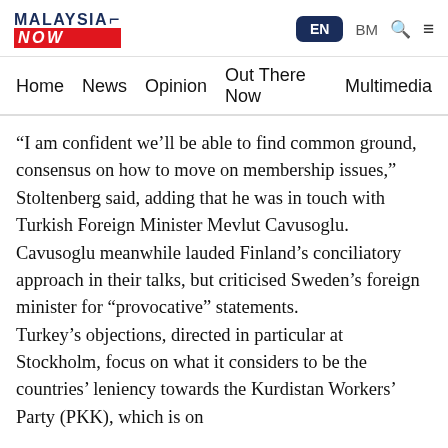MALAYSIA NOW | EN | BM
Home | News | Opinion | Out There Now | Multimedia
“I am confident we’ll be able to find common ground, consensus on how to move on membership issues,” Stoltenberg said, adding that he was in touch with Turkish Foreign Minister Mevlut Cavusoglu.
Cavusoglu meanwhile lauded Finland’s conciliatory approach in their talks, but criticised Sweden’s foreign minister for “provocative” statements.
Turkey’s objections, directed in particular at Stockholm, focus on what it considers to be the countries’ leniency towards the Kurdistan Workers’ Party (PKK), which is on